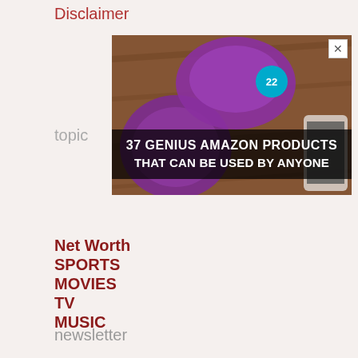Disclaimer
[Figure (photo): Advertisement banner showing purple headphones with text '37 GENIUS AMAZON PRODUCTS THAT CAN BE USED BY ANYONE']
topic
Net Worth
SPORTS
MOVIES
TV
MUSIC
POLITICS
ROYALTY
FASHION
BREAKING NEWS
[Figure (screenshot): Black video player overlay with loading spinner and close button, CLOSE button at bottom right]
newsletter